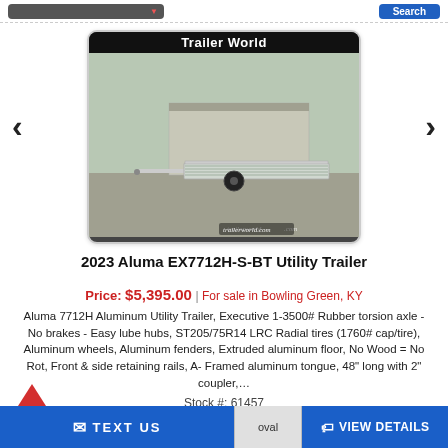Trailer World
[Figure (photo): Photo of a 2023 Aluma EX7712H-S-BT aluminum utility trailer on a paved lot in front of a metal building, with 'Trailer World' header and trailerworld.com watermark]
2023 Aluma EX7712H-S-BT Utility Trailer
Price: $5,395.00 | For sale in Bowling Green, KY
Aluma 7712H Aluminum Utility Trailer, Executive 1-3500# Rubber torsion axle - No brakes - Easy lube hubs, ST205/75R14 LRC Radial tires (1760# cap/tire), Aluminum wheels, Aluminum fenders, Extruded aluminum floor, No Wood = No Rot, Front & side retaining rails, A-Framed aluminum tongue, 48" long with 2" coupler,...
Stock #: 61457
TEXT US | VIEW DETAILS